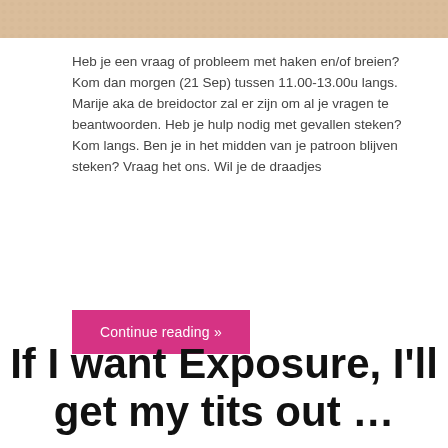[Figure (photo): Cropped top portion of a person wearing a light beige/cream knitted sweater, only lower face/neck area visible]
Heb je een vraag of probleem met haken en/of breien? Kom dan morgen (21 Sep) tussen 11.00-13.00u langs. Marije aka de breidoctor zal er zijn om al je vragen te beantwoorden. Heb je hulp nodig met gevallen steken? Kom langs. Ben je in het midden van je patroon blijven steken? Vraag het ons. Wil je de draadjes
Continue reading »
If I want Exposure, I'll get my tits out …